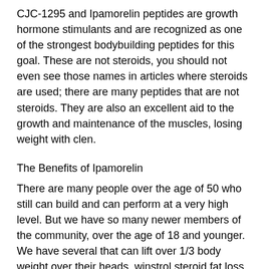CJC-1295 and Ipamorelin peptides are growth hormone stimulants and are recognized as one of the strongest bodybuilding peptides for this goal. These are not steroids, you should not even see those names in articles where steroids are used; there are many peptides that are not steroids. They are also an excellent aid to the growth and maintenance of the muscles, losing weight with clen.
The Benefits of Ipamorelin
There are many people over the age of 50 who still can build and can perform at a very high level. But we have so many newer members of the community, over the age of 18 and younger. We have several that can lift over 1/3 body weight over their heads, winstrol steroid fat loss. Most of them have never lifted with...